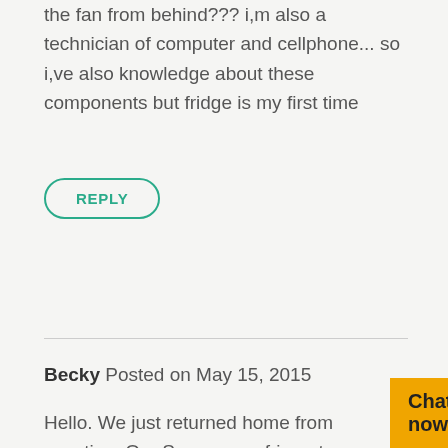the fan from behind??? i,m also a technician of computer and cellphone... so i,ve also knowledge about these components but fridge is my first time
REPLY
Becky Posted on May 15, 2015
Hello. We just returned home from vacation. Our Samsung refrigerator was unplugged while we were away. We now have a #12 error code, which from your diagram, should mean the condenser fan motor. Should I assume that the fan is dead or could it be a wire? Any easy way for us to figure out the problem without a service call?
Chat now